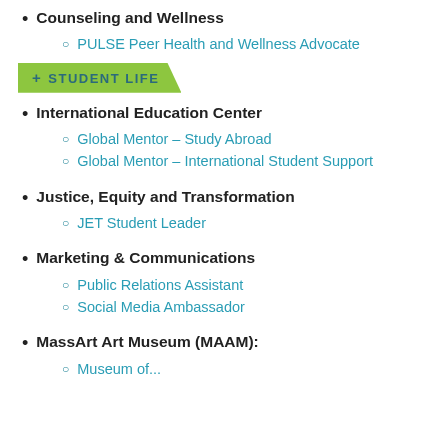Counseling and Wellness
PULSE Peer Health and Wellness Advocate
+ STUDENT LIFE
International Education Center
Global Mentor – Study Abroad
Global Mentor – International Student Support
Justice, Equity and Transformation
JET Student Leader
Marketing & Communications
Public Relations Assistant
Social Media Ambassador
MassArt Art Museum (MAAM):
Museum of... (truncated)